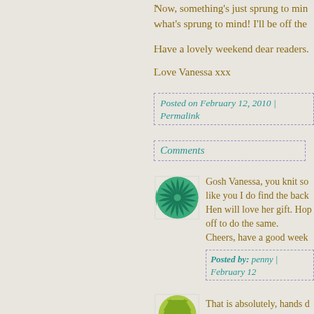Now, something's just sprung to mind... what's sprung to mind! I'll be off the
Have a lovely weekend dear readers.
Love Vanessa xxx
Posted on February 12, 2010 | Permalink
Comments
[Figure (illustration): Green circular spiral/pinwheel decorative avatar icon]
Gosh Vanessa, you knit so like you I do find the back Hen will love her gift. Hop off to do the same. Cheers, have a good week
Posted by: penny | February 12
[Figure (illustration): Green/yellow leaf or geometric decorative avatar icon]
That is absolutely, hands d